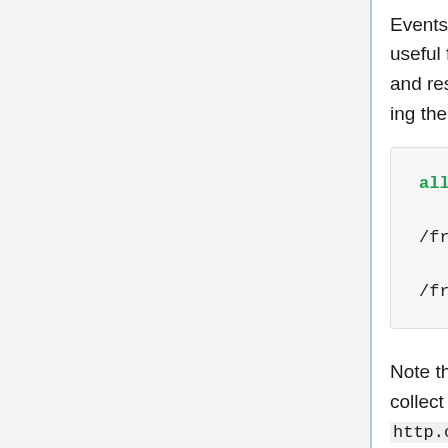Events are often associated with a HTTP request/response. It can be useful for the event to record some information about the HTTP request and response. If you need to do this, for consistency we suggest $ref-ing the fragment http schema↗:
allOf:
  - $ref: /fragment/common/1.0.0#
  - $ref: /fragment/http/1.2.0#
Note that in that schema, client_ip is not captured. If you want to collect the client IP address of the producer of the event, the http.client_ip property is the appropriate place to do it. There is a